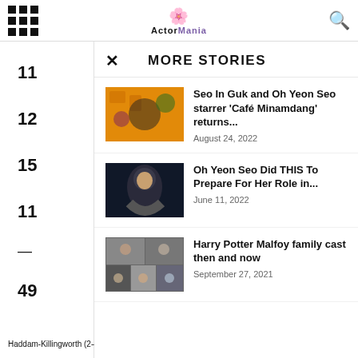ActorMania
MORE STORIES
11
12
15
11
—
49
Seo In Guk and Oh Yeon Seo starrer 'Café Minamdang' returns...
August 24, 2022
Oh Yeon Seo Did THIS To Prepare For Her Role in...
June 11, 2022
Harry Potter Malfoy family cast then and now
September 27, 2021
Haddam-Killingworth (2-4-0)